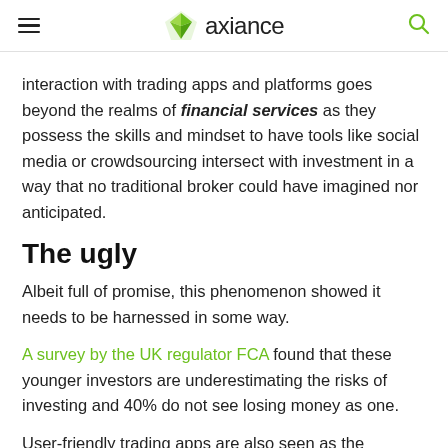axiance
interaction with trading apps and platforms goes beyond the realms of financial services as they possess the skills and mindset to have tools like social media or crowdsourcing intersect with investment in a way that no traditional broker could have imagined nor anticipated.
The ugly
Albeit full of promise, this phenomenon showed it needs to be harnessed in some way.
A survey by the UK regulator FCA found that these younger investors are underestimating the risks of investing and 40% do not see losing money as one.
User-friendly trading apps are also seen as the reflection of thrill-seeking gambling, a short-sighted frenzy for impulsive traders who probably aren't able to handle losses.